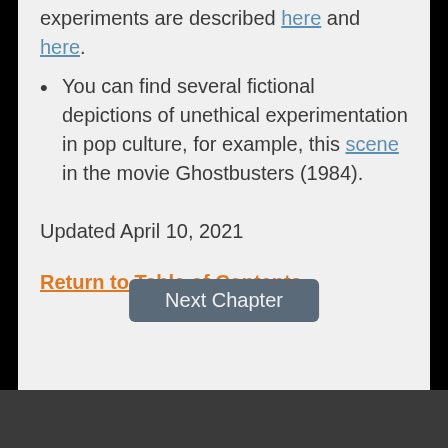experiments are described here and here.
You can find several fictional depictions of unethical experimentation in pop culture, for example, this scene in the movie Ghostbusters (1984).
Updated April 10, 2021
Return to Table of Contents
Next Chapter